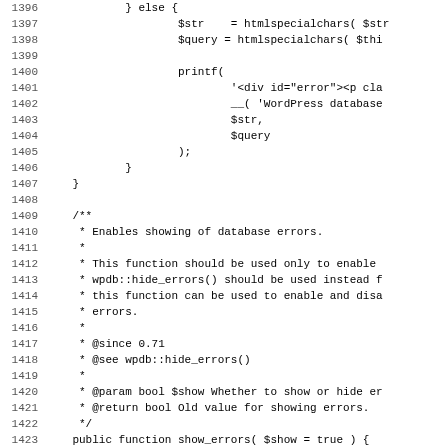Code listing lines 1396–1427 showing PHP source code for WordPress database class
1396: } else {
1397: $str = htmlspecialchars( $str
1398: $query = htmlspecialchars( $thi
1399: 
1400: printf(
1401: '<div id="error"><p cla
1402: __( 'WordPress database
1403: $str,
1404: $query
1405: );
1406: }
1407: }
1408: 
1409: /**
1410: * Enables showing of database errors.
1411: *
1412: * This function should be used only to enable
1413: * wpdb::hide_errors() should be used instead f
1414: * this function can be used to enable and disa
1415: * errors.
1416: *
1417: * @since 0.71
1418: * @see wpdb::hide_errors()
1419: *
1420: * @param bool $show Whether to show or hide er
1421: * @return bool Old value for showing errors.
1422: */
1423: public function show_errors( $show = true ) {
1424: $errors = $this->show_errors;
1425: $this->show_errors = $show;
1426: return $errors;
1427: }